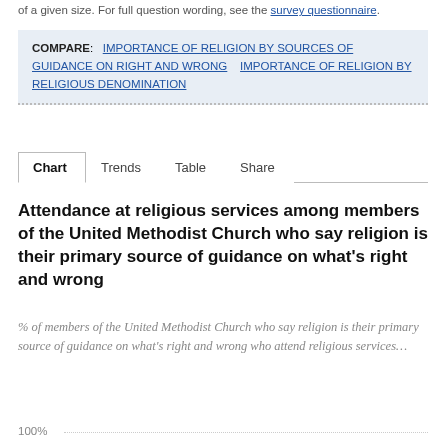of a given size. For full question wording, see the survey questionnaire.
COMPARE: IMPORTANCE OF RELIGION BY SOURCES OF GUIDANCE ON RIGHT AND WRONG   IMPORTANCE OF RELIGION BY RELIGIOUS DENOMINATION
Chart  Trends  Table  Share
Attendance at religious services among members of the United Methodist Church who say religion is their primary source of guidance on what's right and wrong
% of members of the United Methodist Church who say religion is their primary source of guidance on what's right and wrong who attend religious services…
100%